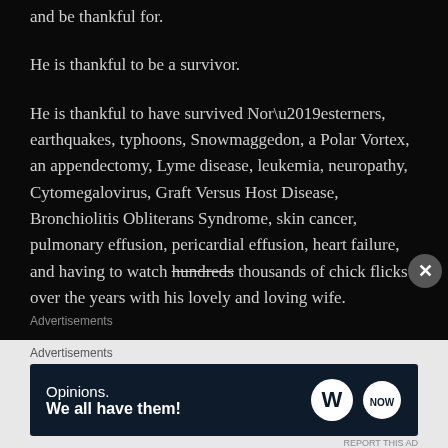and be thankful for.
He is thankful to be a survivor.
He is thankful to have survived Nor’esterners, earthquakes, typhoons, Snowmaggedon, a Polar Vortex, an appendectomy, Lyme disease, leukemia, neuropathy, Cytomegalovirus, Graft Versus Host Disease, Bronchiolitis Obliterans Syndrome, skin cancer, pulmonary effusion, pericardial effusion, heart failure, and having to watch hundreds thousands of chick flicks over the years with his lovely and loving wife.
Advertisements
[Figure (screenshot): Advertisement banner: WordPress and NowNow logos with text 'Opinions. We all have them!']